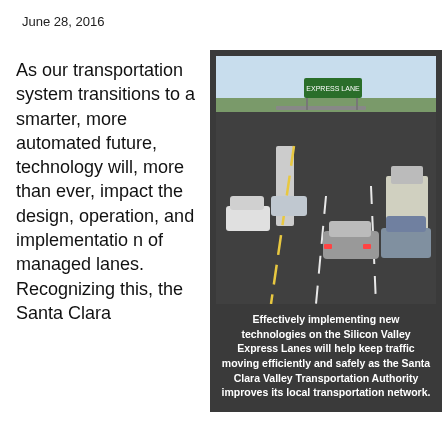June 28, 2016
As our transportation system transitions to a smarter, more automated future, technology will, more than ever, impact the design, operation, and implementation of managed lanes. Recognizing this, the Santa Clara
[Figure (photo): Highway photo showing cars on Silicon Valley Express Lanes with overhead green sign]
Effectively implementing new technologies on the Silicon Valley Express Lanes will help keep traffic moving efficiently and safely as the Santa Clara Valley Transportation Authority improves its local transportation network.